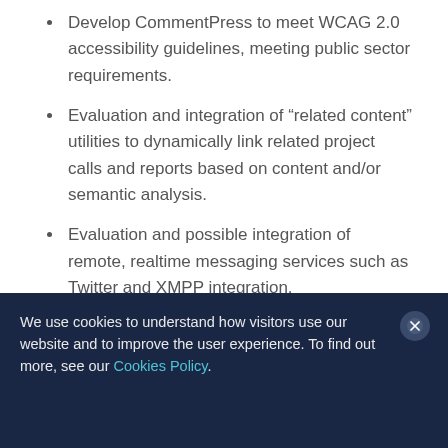Develop CommentPress to meet WCAG 2.0 accessibility guidelines, meeting public sector requirements.
Evaluation and integration of “related content” utilities to dynamically link related project calls and reports based on content and/or semantic analysis.
Evaluation and possible integration of remote, realtime messaging services such as Twitter and XMPP integration.
We use cookies to understand how visitors use our website and to improve the user experience. To find out more, see our Cookies Policy.